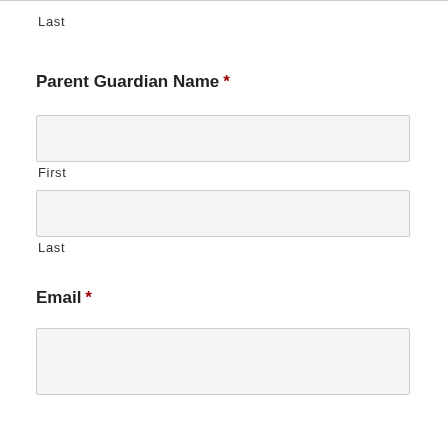Last
Parent Guardian Name *
First
Last
Email *